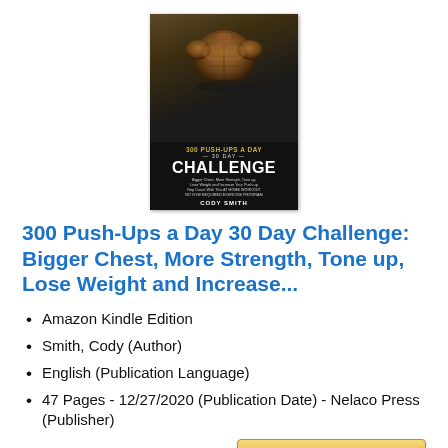[Figure (illustration): Book cover for '300 Push-Ups a Day 30 Day Challenge' by Cody Smith. Dark background with muscular torso image, gold and white title text.]
300 Push-Ups a Day 30 Day Challenge: Bigger Chest, More Strength, Tone up, Lose Weight and Increase...
Amazon Kindle Edition
Smith, Cody (Author)
English (Publication Language)
47 Pages - 12/27/2020 (Publication Date) - Nelaco Press (Publisher)